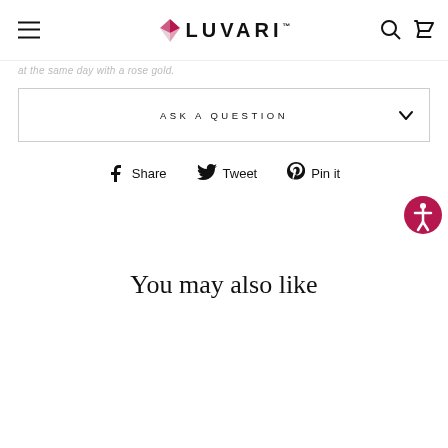LUVARI
...at the same day with a rose gold.
ASK A QUESTION
Share  Tweet  Pin it
You may also like